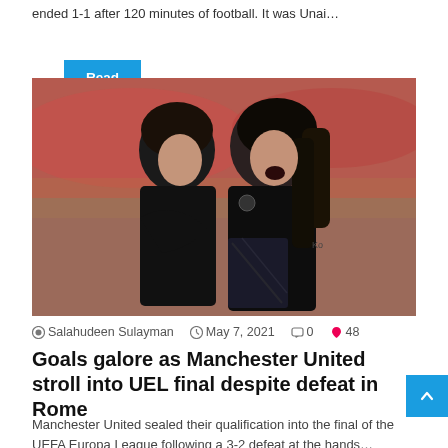ended 1-1 after 120 minutes of football. It was Unai…
Read More »
[Figure (photo): Two Manchester United players in black kit celebrating, one with long hair shouting with mouth open, the other embracing him, with a blurred stadium background]
Salahudeen Sulayman  May 7, 2021  0  48
Goals galore as Manchester United stroll into UEL final despite defeat in Rome
Manchester United sealed their qualification into the final of the UEFA Europa League following a 3-2 defeat at the hands…